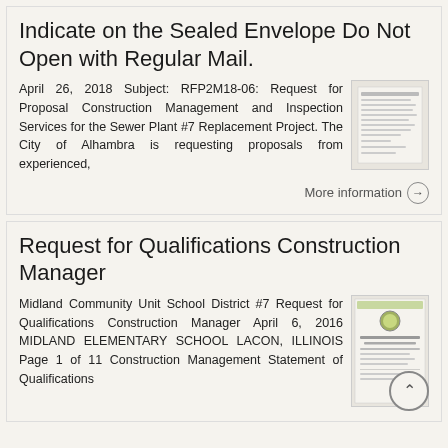Indicate on the Sealed Envelope Do Not Open with Regular Mail.
April 26, 2018 Subject: RFP2M18-06: Request for Proposal Construction Management and Inspection Services for the Sewer Plant #7 Replacement Project. The City of Alhambra is requesting proposals from experienced,
More information →
Request for Qualifications Construction Manager
Midland Community Unit School District #7 Request for Qualifications Construction Manager April 6, 2016 MIDLAND ELEMENTARY SCHOOL LACON, ILLINOIS Page 1 of 11 Construction Management Statement of Qualifications